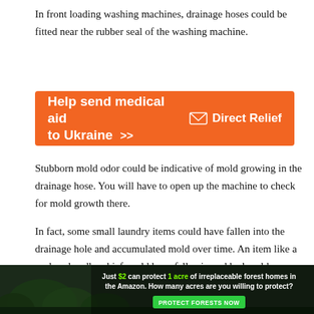In front loading washing machines, drainage hoses could be fitted near the rubber seal of the washing machine.
[Figure (infographic): Orange advertisement banner for Direct Relief: 'Help send medical aid to Ukraine >>' with Direct Relief logo]
Stubborn mold odor could be indicative of mold growing in the drainage hose. You will have to open up the machine to check for mold growth there.
In fact, some small laundry items could have fallen into the drainage hole and accumulated mold over time. An item like a sock or handkerchief could have fallen in and had mold growing all over it.
In summary, the best way to avoid mold issues with your washing
[Figure (infographic): Dark forest advertisement: 'Just $2 can protect 1 acre of irreplaceable forest homes in the Amazon. How many acres are you willing to protect?' with 'PROTECT FORESTS NOW' green button]